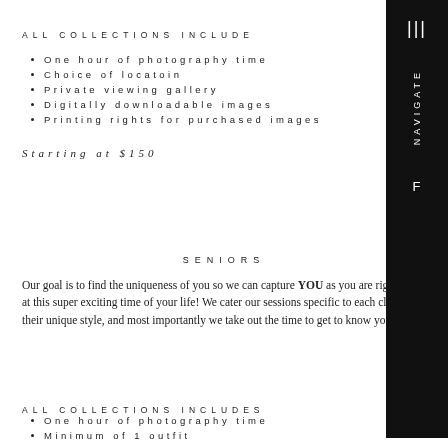ALL COLLECTIONS INCLUDE
One hour of photography time
Choice of locatoin
Private viewing gallery
Digitally downloadable images
Printing rights for purchased images
Starting at $150
SENIORS
Our goal is to find the uniqueness of you so we can capture YOU as you are right now at this super exciting time of your life! We cater our sessions specific to each client and their unique style, and most importantly we take out the time to get to know you.
ALL COLLECTIONS INCLUDES
One hour of photography time
Minimum of 1 outfit